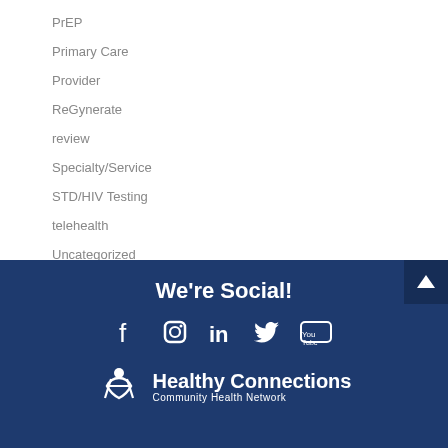PrEP
Primary Care
Provider
ReGynerate
review
Specialty/Service
STD/HIV Testing
telehealth
Uncategorized
Your Healthy Connection
We're Social! [Facebook, Instagram, LinkedIn, Twitter, YouTube icons] Healthy Connections Community Health Network